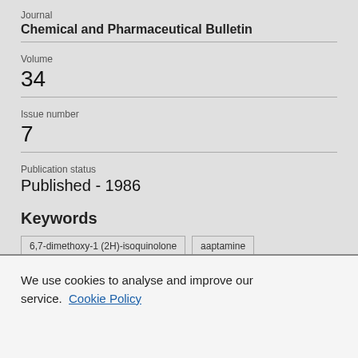Journal
Chemical and Pharmaceutical Bulletin
Volume
34
Issue number
7
Publication status
Published - 1986
Keywords
6,7-dimethoxy-1 (2H)-isoquinolone
aaptamine
palladium-catalyzed reaction
synthesis
trimethylsilylacetylene
We use cookies to analyse and improve our service. Cookie Policy